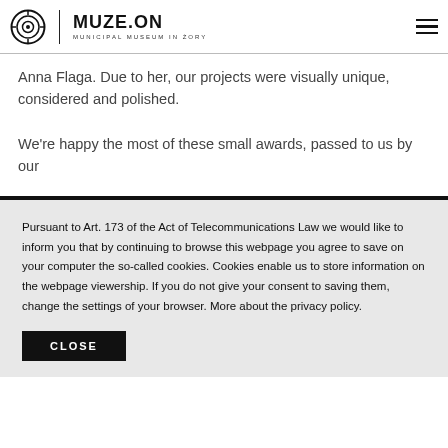MUZE.ON | MUNICIPAL MUSEUM IN ŻORY
Anna Flaga. Due to her, our projects were visually unique, considered and polished.
We're happy the most of these small awards, passed to us by our
Pursuant to Art. 173 of the Act of Telecommunications Law we would like to inform you that by continuing to browse this webpage you agree to save on your computer the so-called cookies. Cookies enable us to store information on the webpage viewership. If you do not give your consent to saving them, change the settings of your browser. More about the privacy policy.
CLOSE